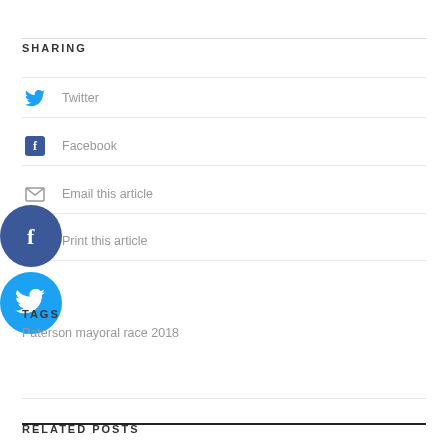SHARING
Twitter
Facebook
Email this article
Print this article
[Figure (illustration): Floating Facebook circular button overlay]
[Figure (illustration): Floating Twitter circular button overlay]
TAGS
Paterson mayoral race 2018
RELATED POSTS